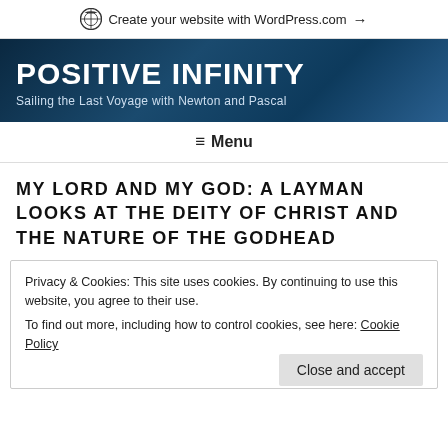Create your website with WordPress.com →
POSITIVE INFINITY
Sailing the Last Voyage with Newton and Pascal
≡ Menu
MY LORD AND MY GOD: A LAYMAN LOOKS AT THE DEITY OF CHRIST AND THE NATURE OF THE GODHEAD
Privacy & Cookies: This site uses cookies. By continuing to use this website, you agree to their use.
To find out more, including how to control cookies, see here: Cookie Policy
Close and accept